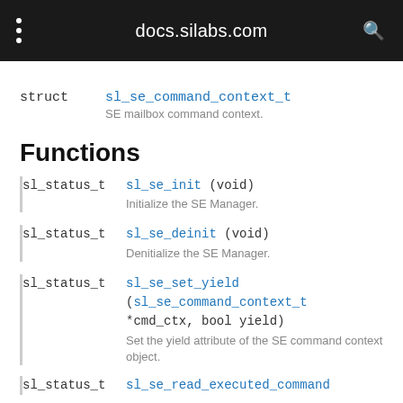docs.silabs.com
struct  sl_se_command_context_t  SE mailbox command context.
Functions
sl_status_t  sl_se_init (void)  Initialize the SE Manager.
sl_status_t  sl_se_deinit (void)  Denitialize the SE Manager.
sl_status_t  sl_se_set_yield (sl_se_command_context_t *cmd_ctx, bool yield)  Set the yield attribute of the SE command context object.
sl_status_t  sl_se_read_executed_command ...